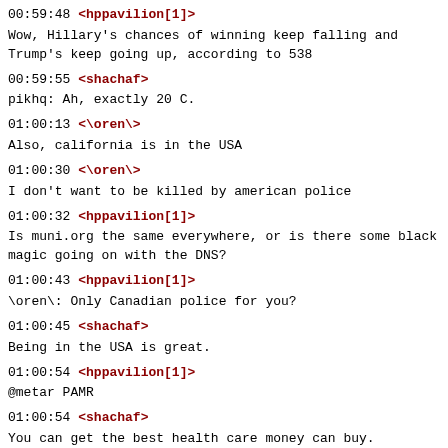00:59:48 <hppavilion[1]>
Wow, Hillary's chances of winning keep falling and Trump's keep going up, according to 538
00:59:55 <shachaf>
pikhq: Ah, exactly 20 C.
01:00:13 <\oren\>
Also, california is in the USA
01:00:30 <\oren\>
I don't want to be killed by american police
01:00:32 <hppavilion[1]>
Is muni.org the same everywhere, or is there some black magic going on with the DNS?
01:00:43 <hppavilion[1]>
\oren\: Only Canadian police for you?
01:00:45 <shachaf>
Being in the USA is great.
01:00:54 <hppavilion[1]>
@metar PAMR
01:00:54 <shachaf>
You can get the best health care money can buy.
01:00:54 <lambdabot>
PAMR 212353Z 17005KT 10SM BKN046 BKN055 OVC070 22/12 A2983 RMK AO2 SLP100 60001 T02170122 10217 20167 58009
01:01:01 -!-
tromp_ has quit (Remote host closed the connection)